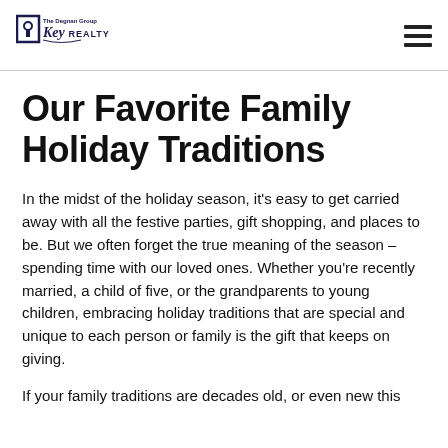The Degnan Group Key REALTY
Our Favorite Family Holiday Traditions
In the midst of the holiday season, it’s easy to get carried away with all the festive parties, gift shopping, and places to be. But we often forget the true meaning of the season – spending time with our loved ones. Whether you’re recently married, a child of five, or the grandparents to young children, embracing holiday traditions that are special and unique to each person or family is the gift that keeps on giving.
If your family traditions are decades old, or even new this